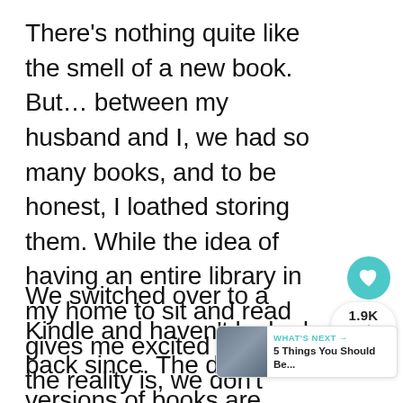There's nothing quite like the smell of a new book. But… between my husband and I, we had so many books, and to be honest, I loathed storing them. While the idea of having an entire library in my home to sit and read gives me excited shivers, the reality is, we don't have space right now. And the clutter of books makes me anxious.
We switched over to a Kindle and haven't looked back since. The digital versions of books are often significantly cheap… can even get copies for free regularly. If you're an avid reader, you can save loads by
[Figure (other): Teal circular heart/like button with white heart icon, showing engagement button for article]
[Figure (other): Share widget showing 1.9K shares with share icon]
[Figure (other): What's Next promotional card showing '5 Things You Should Be...' with a thumbnail image]